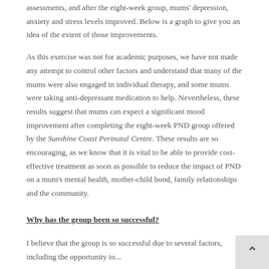assessments, and after the eight-week group, mums' depression, anxiety and stress levels improved. Below is a graph to give you an idea of the extent of those improvements.
As this exercise was not for academic purposes, we have not made any attempt to control other factors and understand that many of the mums were also engaged in individual therapy, and some mums were taking anti-depressant medication to help. Nevertheless, these results suggest that mums can expect a significant mood improvement after completing the eight-week PND group offered by the Sunshine Coast Perinatal Centre. These results are so encouraging, as we know that it is vital to be able to provide cost-effective treatment as soon as possible to reduce the impact of PND on a mum's mental health, mother-child bond, family relationships and the community.
Why has the group been so successful?
I believe that the group is so successful due to several factors, including the opportunity to...